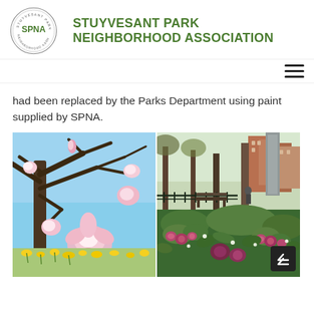STUYVESANT PARK NEIGHBORHOOD ASSOCIATION
had been replaced by the Parks Department using paint supplied by SPNA.
[Figure (photo): Two side-by-side photos of Stuyvesant Park in spring: left shows a blooming magnolia tree with pink flowers and daffodils; right shows green garden beds with hellebores and trees in the background with park benches and brick buildings visible.]